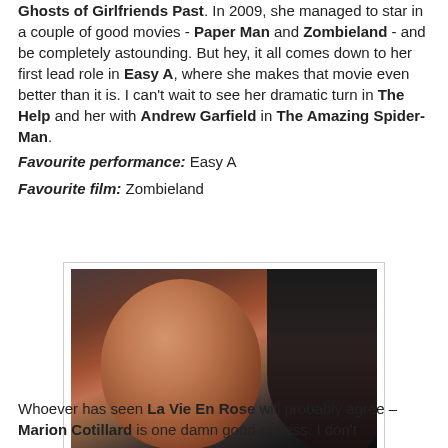Ghosts of Girlfriends Past. In 2009, she managed to star in a couple of good movies - Paper Man and Zombieland - and be completely astounding. But hey, it all comes down to her first lead role in Easy A, where she makes that movie even better than it is. I can't wait to see her dramatic turn in The Help and her with Andrew Garfield in The Amazing Spider-Man. Favourite performance: Easy A Favourite film: Zombieland
[Figure (photo): Photo of Marion Cotillard in Public Enemies, a woman with dark curly hair wearing a red dress, looking toward the camera with a slight smile, with a man in dark clothing visible from behind in the foreground right.]
8. Marion Cotillard (in Public Enemies)
Whoever has seen La Vie En Rose will probably agree – Marion Cotillard is one damn good actress. I don't